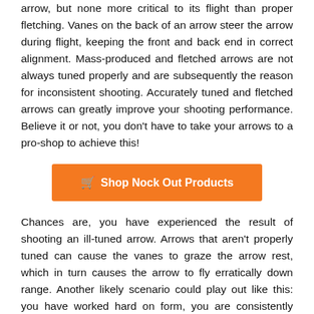arrow, but none more critical to its flight than proper fletching. Vanes on the back of an arrow steer the arrow during flight, keeping the front and back end in correct alignment. Mass-produced and fletched arrows are not always tuned properly and are subsequently the reason for inconsistent shooting. Accurately tuned and fletched arrows can greatly improve your shooting performance. Believe it or not, you don't have to take your arrows to a pro-shop to achieve this!
[Figure (other): Orange button labeled 'Shop Nock Out Products' with a shopping cart icon]
Chances are, you have experienced the result of shooting an ill-tuned arrow. Arrows that aren't properly tuned can cause the vanes to graze the arrow rest, which in turn causes the arrow to fly erratically down range. Another likely scenario could play out like this: you have worked hard on form, you are consistently nocking at the same